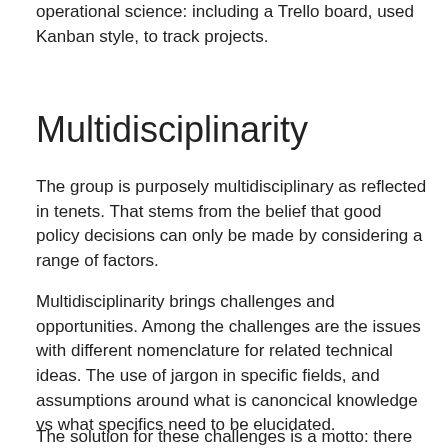operational science: including a Trello board, used Kanban style, to track projects.
Multidisciplinarity
The group is purposely multidisciplinary as reflected in tenets. That stems from the belief that good policy decisions can only be made by considering a range of factors.
Multidisciplinarity brings challenges and opportunities. Among the challenges are the issues with different nomenclature for related technical ideas. The use of jargon in specific fields, and assumptions around what is canoncical knowledge vs what specifics need to be elucidated.
The solution for these challenges is a motto: there are no